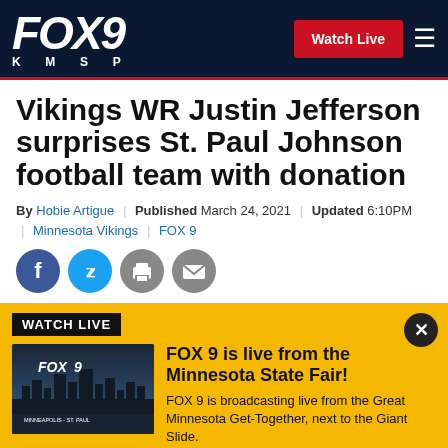FOX 9 KMSP | Watch Live
Vikings WR Justin Jefferson surprises St. Paul Johnson football team with donation
By Hobie Artigue | Published March 24, 2021 | Updated 6:10PM | Minnesota Vikings | FOX 9
[Figure (infographic): Social sharing icons: Facebook, Twitter, Print, Email]
[Figure (infographic): Watch Live banner with FOX 9 thumbnail showing city skyline. Headline: FOX 9 is live from the Minnesota State Fair! Description: FOX 9 is broadcasting live from the Great Minnesota Get-Together, next to the Giant Slide. Progress bar at bottom.]